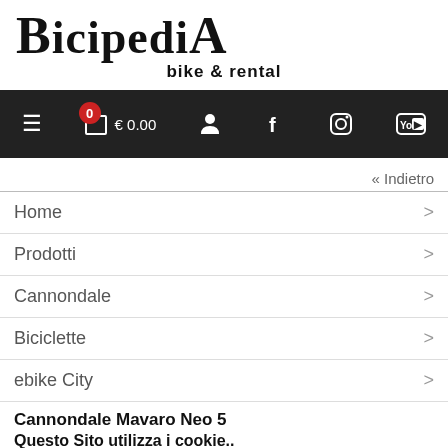BicipediA bike & rental
Navigation bar with cart (0, €0.00), user, facebook, instagram, youtube icons
« Indietro
Home >
Prodotti >
Cannondale >
Biciclette >
ebike City >
Cannondale Mavaro Neo 5
Questo Sito utilizza i cookie..
per migliorare l'esperienza utente e assicurarsi che tutto funzioni in modo